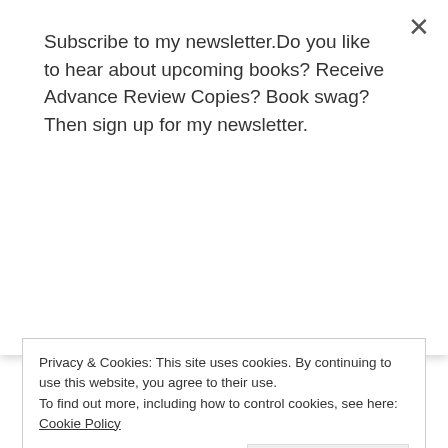Subscribe to my newsletter.Do you like to hear about upcoming books? Receive Advance Review Copies? Book swag? Then sign up for my newsletter.
Subscribe
Website
Privacy & Cookies: This site uses cookies. By continuing to use this website, you agree to their use. To find out more, including how to control cookies, see here: Cookie Policy
Close and accept
Notify me of new posts by email.